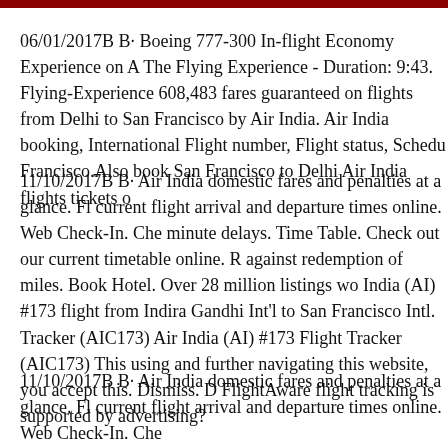06/01/2017B B· Boeing 777-300 In-flight Economy Experience on A The Flying Experience - Duration: 9:43. Flying-Experience 608,483 fares guaranteed on flights from Delhi to San Francisco by Air India. Air India booking, International Flight number, Flight status, Schedu Francisco.Also book San Francisco to Delhi Air India flights tickets o
11/10/2017B B· Air India domestic fares and penalties at a glance. Fl current flight arrival and departure times online. Web Check-In. Che minute delays. Time Table. Check out our current timetable online. R against redemption of miles. Book Hotel. Over 28 million listings wo India (AI) #173 flight from Indira Gandhi Int'l to San Francisco Intl. Tracker (AIC173) Air India (AI) #173 Flight Tracker (AIC173) This using and further navigating this website, you accept this. Dismiss. D FlightAware flight tracking is supported by advertising?
11/10/2017B B· Air India domestic fares and penalties at a glance. Fl current flight arrival and departure times online. Web Check-In. Che